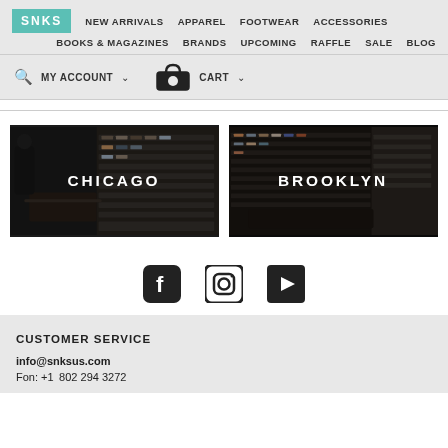SNKS | NEW ARRIVALS | APPAREL | FOOTWEAR | ACCESSORIES | BOOKS & MAGAZINES | BRANDS | UPCOMING | RAFFLE | SALE | BLOG | MY ACCOUNT | CART
[Figure (photo): SNKS sneaker store Chicago location — interior with shoe shelves and display counter, with text overlay CHICAGO]
[Figure (photo): SNKS sneaker store Brooklyn location — interior with wall-to-wall shoe shelves, with text overlay BROOKLYN]
[Figure (infographic): Social media icons: Facebook, Instagram, YouTube]
CUSTOMER SERVICE
info@snksus.com
Fon: +1 802 294 3272